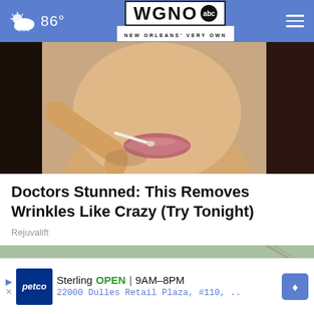WGNO abc — NEW ORLEANS' VERY OWN — 86°
[Figure (photo): Close-up photo of a woman applying makeup or a cream near her lips with a brush or applicator]
Doctors Stunned: This Removes Wrinkles Like Crazy (Try Tonight)
Rejuvalift
[Figure (photo): Workers on a roof applying roofing material or tarp, outdoors]
Sterling OPEN 9AM–8PM 22000 Dulles Retail Plaza, #110, .